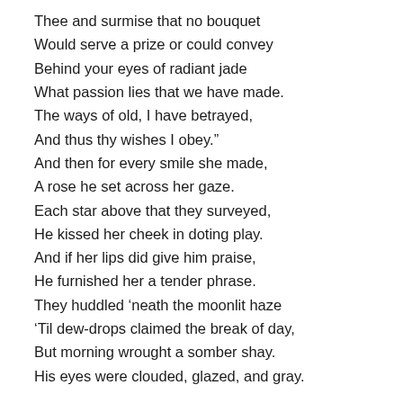Thee and surmise that no bouquet
Would serve a prize or could convey
Behind your eyes of radiant jade
What passion lies that we have made.
The ways of old, I have betrayed,
And thus thy wishes I obey.”
And then for every smile she made,
A rose he set across her gaze.
Each star above that they surveyed,
He kissed her cheek in doting play.
And if her lips did give him praise,
He furnished her a tender phrase.
They huddled ‘neath the moonlit haze
‘Til dew-drops claimed the break of day,
But morning wrought a somber shay.
His eyes were clouded, glazed, and gray.